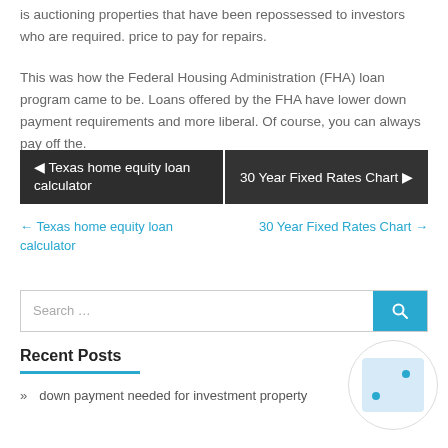is auctioning properties that have been repossessed to investors who are required. price to pay for repairs.
This was how the Federal Housing Administration (FHA) loan program came to be. Loans offered by the FHA have lower down payment requirements and more liberal. Of course, you can always pay off the.
◄ Texas home equity loan calculator
30 Year Fixed Rates Chart ►
← Texas home equity loan calculator
30 Year Fixed Rates Chart →
Recent Posts
» down payment needed for investment property